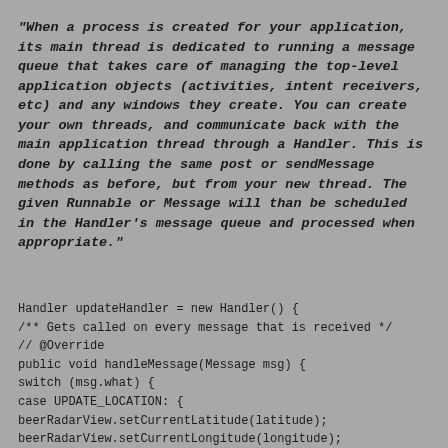"When a process is created for your application, its main thread is dedicated to running a message queue that takes care of managing the top-level application objects (activities, intent receivers, etc) and any windows they create. You can create your own threads, and communicate back with the main application thread through a Handler. This is done by calling the same post or sendMessage methods as before, but from your new thread. The given Runnable or Message will than be scheduled in the Handler's message queue and processed when appropriate."
Handler updateHandler = new Handler() {
/** Gets called on every message that is received */
// @Override
public void handleMessage(Message msg) {
switch (msg.what) {
case UPDATE_LOCATION: {
beerRadarView.setCurrentLatitude(latitude);
beerRadarView.setCurrentLongitude(longitude);
break;
}
}
beerRadarView.invalidate();